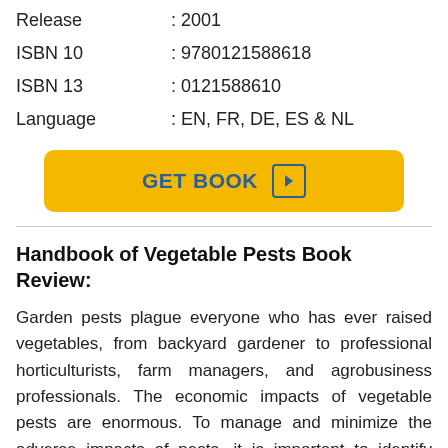Release : 2001
ISBN 10 : 9780121588618
ISBN 13 : 0121588610
Language : EN, FR, DE, ES & NL
GET BOOK
Handbook of Vegetable Pests Book Review:
Garden pests plague everyone who has ever raised vegetables, from backyard gardener to professional horticulturists, farm managers, and agrobusiness professionals. The economic impacts of vegetable pests are enormous. To manage and minimize the adverse impacts of pests, it is important to identify exactly which